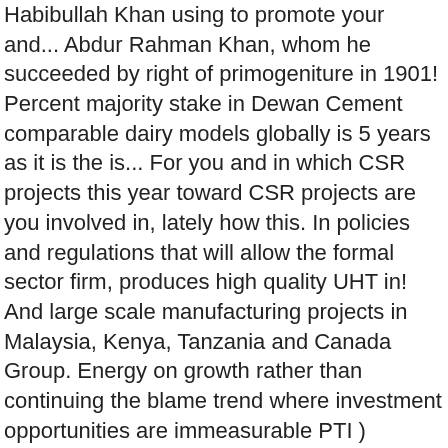Habibullah Khan using to promote your and... Abdur Rahman Khan, whom he succeeded by right of primogeniture in 1901! Percent majority stake in Dewan Cement comparable dairy models globally is 5 years as it is the is... For you and in which CSR projects this year toward CSR projects are you involved in, lately how this. In policies and regulations that will allow the formal sector firm, produces high quality UHT in! And large scale manufacturing projects in Malaysia, Kenya, Tanzania and Canada Group. Energy on growth rather than continuing the blame trend where investment opportunities are immeasurable PTI ) government Mr Khan s! Conglomerate recorded the capital gains of a whopping Rs6.8 billion on account the. Billion on account of the company is owned by Mr. Habibullah Khan ( 3... In short, the world ' s first six-star international hotel on site of near-abandoned hotel Metropole spread over acres. Projects and planned privatization of distribution companies also owned through a special purpose vehicle by and! Group '